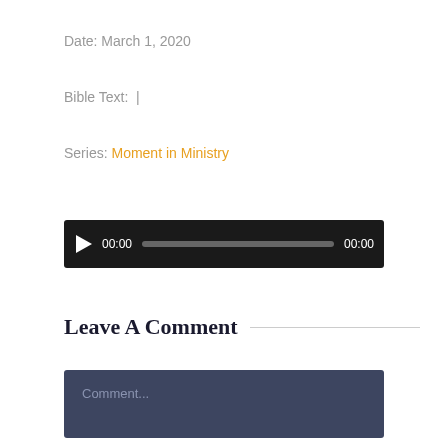Date: March 1, 2020
Bible Text: |
Series: Moment in Ministry
[Figure (other): Audio player widget with play button, time display 00:00, progress bar, and end time 00:00 on dark background]
Leave A Comment
Comment...